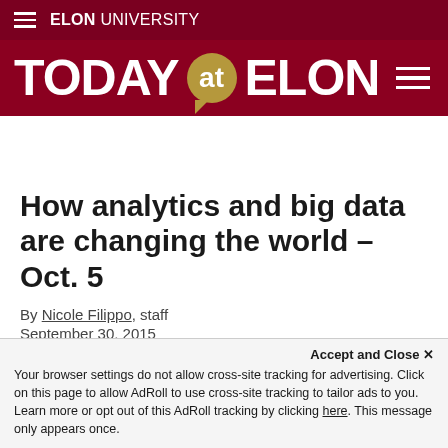Elon University
[Figure (logo): Today at Elon logo header with dark red background, gold speech bubble 'at' badge, and hamburger menu icon]
How analytics and big data are changing the world – Oct. 5
By Nicole Filippo, staff
September 30, 2015
Accept and Close ✕ Your browser settings do not allow cross-site tracking for advertising. Click on this page to allow AdRoll to use cross-site tracking to tailor ads to you. Learn more or opt out of this AdRoll tracking by clicking here. This message only appears once.